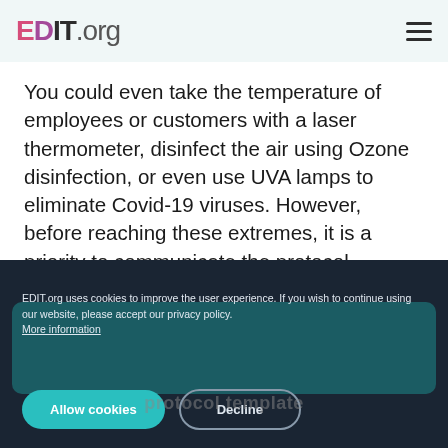EDIT.org
You could even take the temperature of employees or customers with a laser thermometer, disinfect the air using Ozone disinfection, or even use UVA lamps to eliminate Covid-19 viruses. However, before reaching these extremes, it is a priority to communicate the protocol recommendations to people who are at work or visit it.
EDIT.org uses cookies to improve the user experience. If you wish to continue using our website, please accept our privacy policy. More information
Allow cookies | Decline